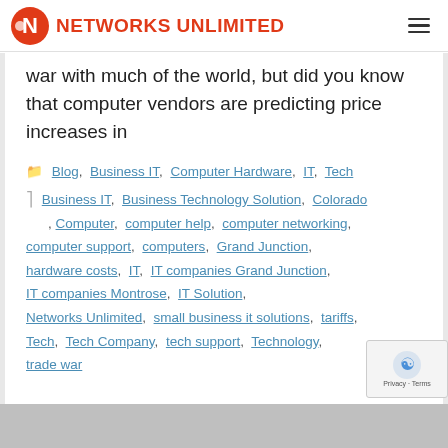NETWORKS UNLIMITED
war with much of the world, but did you know that computer vendors are predicting price increases in
Blog, Business IT, Computer Hardware, IT, Tech
Business IT, Business Technology Solution, Colorado, Computer, computer help, computer networking, computer support, computers, Grand Junction, hardware costs, IT, IT companies Grand Junction, IT companies Montrose, IT Solution, Networks Unlimited, small business it solutions, tariffs, Tech, Tech Company, tech support, Technology, trade war